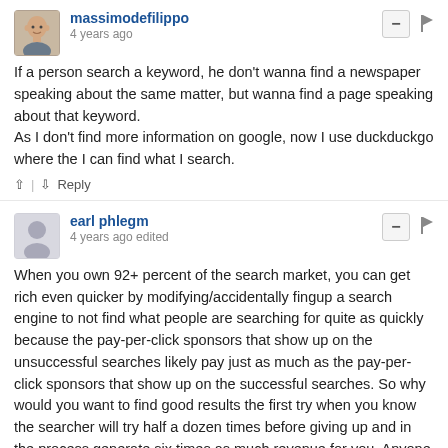[Figure (illustration): User avatar photo of massimodefilippo, a bald man]
massimodefilippo
4 years ago
If a person search a keyword, he don't wanna find a newspaper speaking about the same matter, but wanna find a page speaking about that keyword.
As I don't find more information on google, now I use duckduckgo where the I can find what I search.
↑ | ↓  Reply
[Figure (illustration): Generic user avatar silhouette for earl phlegm]
earl phlegm
4 years ago edited
When you own 92+ percent of the search market, you can get rich even quicker by modifying/accidentally fingup a search engine to not find what people are searching for quite as quickly because the pay-per-click sponsors that show up on the unsuccessful searches likely pay just as much as the pay-per-click sponsors that show up on the successful searches. So why would you want to find good results the first try when you know the searcher will try half a dozen times before giving up and in the process generate six times as much revenue for you. Anyone who's bought defective Chinese dimestore crap that broke on the first use and then turned right around and bought the same defective Chinese dimestore crap again out of